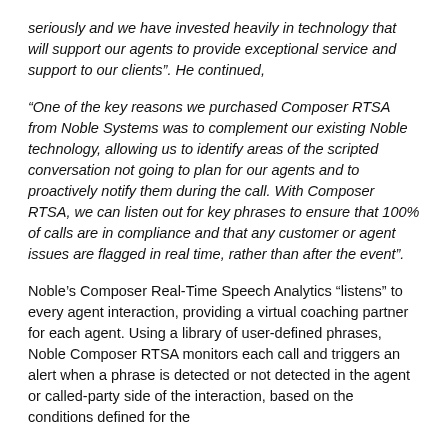seriously and we have invested heavily in technology that will support our agents to provide exceptional service and support to our clients". He continued,
“One of the key reasons we purchased Composer RTSA from Noble Systems was to complement our existing Noble technology, allowing us to identify areas of the scripted conversation not going to plan for our agents and to proactively notify them during the call. With Composer RTSA, we can listen out for key phrases to ensure that 100% of calls are in compliance and that any customer or agent issues are flagged in real time, rather than after the event”.
Noble’s Composer Real-Time Speech Analytics “listens” to every agent interaction, providing a virtual coaching partner for each agent. Using a library of user-defined phrases, Noble Composer RTSA monitors each call and triggers an alert when a phrase is detected or not detected in the agent or called-party side of the interaction, based on the conditions defined for the